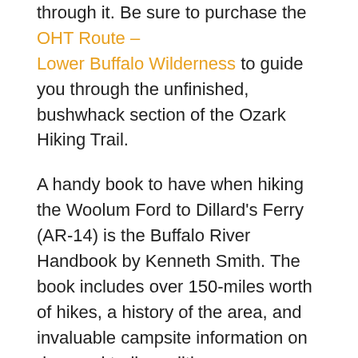through it. Be sure to purchase the OHT Route – Lower Buffalo Wilderness to guide you through the unfinished, bushwhack section of the Ozark Hiking Trail.
A handy book to have when hiking the Woolum Ford to Dillard's Ferry (AR-14) is the Buffalo River Handbook by Kenneth Smith. The book includes over 150-miles worth of hikes, a history of the area, and invaluable campsite information on river and trail conditions.
Sylamore Section
The hike from Spring Creek trail to Matney Knob trailhead (on AR-341) is an estimated 32-miles.